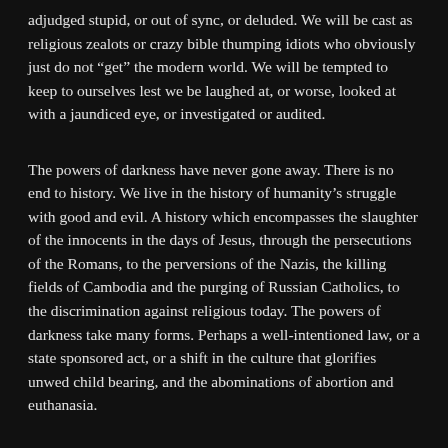adjudged stupid, or out of sync, or deluded. We will be cast as religious zealots or crazy bible thumping idiots who obviously just do not “get” the modern world. We will be tempted to keep to ourselves lest we be laughed at, or worse, looked at with a jaundiced eye, or investigated or audited.
The powers of darkness have never gone away. There is no end to history. We live in the history of humanity’s struggle with good and evil. A history which encompasses the slaughter of the innocents in the days of Jesus, through the persecutions of the Romans, to the perversions of the Nazis, the killing fields of Cambodia and the purging of Russian Catholics, to the discrimination against religious today. The powers of darkness take many forms. Perhaps a well-intentioned law, or a state sponsored act, or a shift in the culture that glorifies unwed child bearing, and the abominations of abortion and euthanasia.